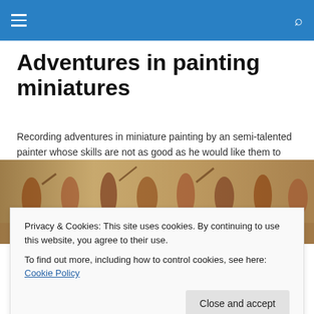Adventures in painting miniatures — navigation bar
Adventures in painting miniatures
Recording adventures in miniature painting by an semi-talented painter whose skills are not as good as he would like them to be…
[Figure (photo): Ancient Roman mosaic frieze showing gladiators or soldiers in combat, with earthy tones of ochre, brown, and red]
Privacy & Cookies: This site uses cookies. By continuing to use this website, you agree to their use.
To find out more, including how to control cookies, see here: Cookie Policy
[Close and accept]